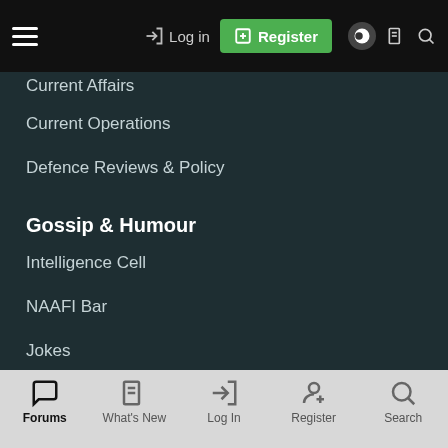Serious Discussion (partial) | Current Affairs (partial)
[Figure (screenshot): Top navigation bar with hamburger menu, Log in button, green Register button, theme toggle, document icon, and search icon on black background]
Current Operations
Defence Reviews & Policy
Gossip & Humour
Intelligence Cell
NAAFI Bar
Jokes
Joining Up
Officers
Soldiers
Forums | What's New | Log In | Register | Search